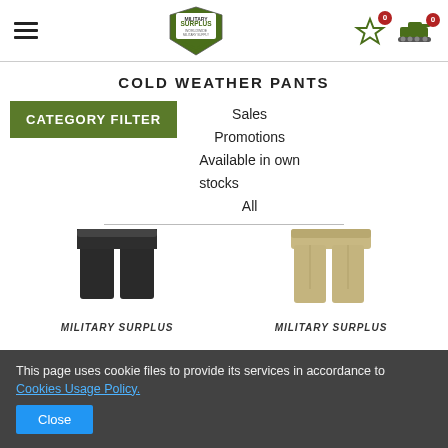Military Surplus – header with hamburger menu, logo, and cart icons
COLD WEATHER PANTS
CATEGORY FILTER
Sales
Promotions
Available in own stocks
All
[Figure (photo): Dark military pants (black/dark grey) product image]
MILITARY SURPLUS
[Figure (photo): Tan/khaki military pants product image]
MILITARY SURPLUS
This page uses cookie files to provide its services in accordance to Cookies Usage Policy.
Close